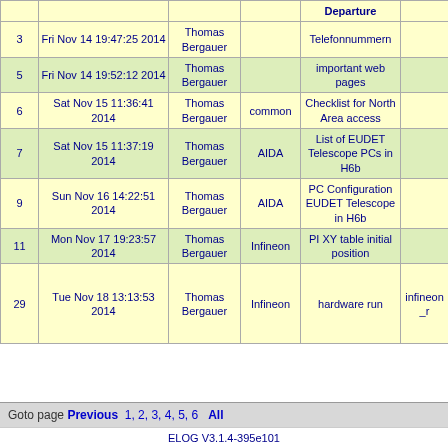| # | Date | Author | Category | Subject/Departure |  |
| --- | --- | --- | --- | --- | --- |
| 3 | Fri Nov 14 19:47:25 2014 | Thomas Bergauer |  | Telefonnummern |  |
| 5 | Fri Nov 14 19:52:12 2014 | Thomas Bergauer |  | important web pages |  |
| 6 | Sat Nov 15 11:36:41 2014 | Thomas Bergauer | common | Checklist for North Area access |  |
| 7 | Sat Nov 15 11:37:19 2014 | Thomas Bergauer | AIDA | List of EUDET Telescope PCs in H6b |  |
| 9 | Sun Nov 16 14:22:51 2014 | Thomas Bergauer | AIDA | PC Configuration EUDET Telescope in H6b |  |
| 11 | Mon Nov 17 19:23:57 2014 | Thomas Bergauer | Infineon | PI XY table initial position |  |
| 29 | Tue Nov 18 13:13:53 2014 | Thomas Bergauer | Infineon | hardware run | infineon_r |
Goto page Previous 1, 2, 3, 4, 5, 6 All
ELOG V3.1.4-395e101